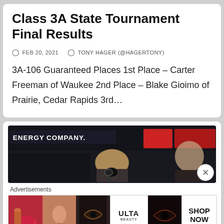Class 3A State Tournament Final Results
FEB 20, 2021   TONY HAGER (@HAGERTONY)
3A-106 Guaranteed Places 1st Place – Carter Freeman of Waukee 2nd Place – Blake Gioimo of Prairie, Cedar Rapids 3rd…
[Figure (photo): Dark sports/event venue photo showing a person in foreground and a man in the background, with 'ENERGY COMPANY' text visible on signage]
Advertisements
[Figure (photo): Ulta Beauty advertisement banner showing makeup/beauty imagery with 'SHOP NOW' call to action]